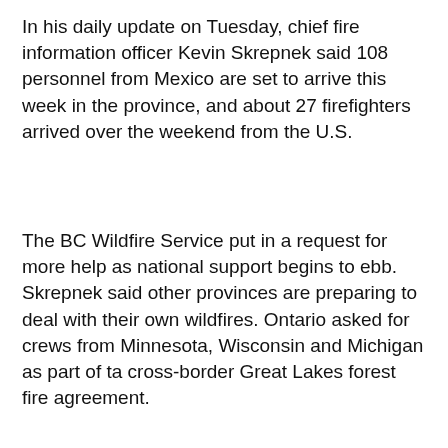In his daily update on Tuesday, chief fire information officer Kevin Skrepnek said 108 personnel from Mexico are set to arrive this week in the province, and about 27 firefighters arrived over the weekend from the U.S.
The BC Wildfire Service put in a request for more help as national support begins to ebb. Skrepnek said other provinces are preparing to deal with their own wildfires. Ontario asked for crews from Minnesota, Wisconsin and Michigan as part of ta cross-border Great Lakes forest fire agreement.
[Figure (screenshot): A video player interface showing a black background with a scroll-to-top button and a dark blue video thumbnail with a grey play button triangle.]